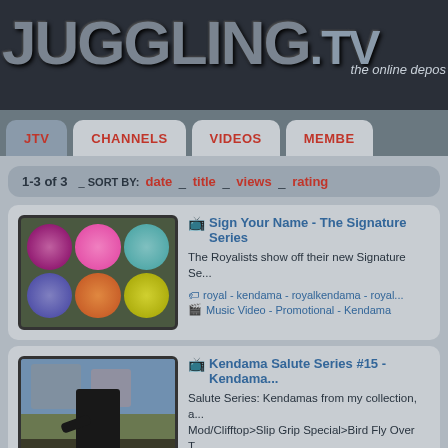[Figure (screenshot): Juggling.TV website header with logo and navigation tabs (JTV, CHANNELS, VIDEOS, MEMBERS)]
1-3 of 3  _ SORT BY: date _ title _ views _ rating
[Figure (screenshot): Video thumbnail for Sign Your Name - The Signature Series, showing 9 colorful circular disc designs in a 3x3 grid]
Sign Your Name - The Signature Series
The Royalists show off their new Signature Se...
royal - kendama - royalkendama - royal...
Music Video - Promotional - Kendama
[Figure (screenshot): Video thumbnail for Kendama Salute Series #15, showing a person juggling outdoors in a backyard]
Kendama Salute Series #15 - Kendama...
Salute Series: Kendamas from my collection, a... Mod/Clifftop>Slip Grip Special>Bird Fly Over T...
saluteserieskd - kendama - void - tlmb -
Single Trick - Kendama